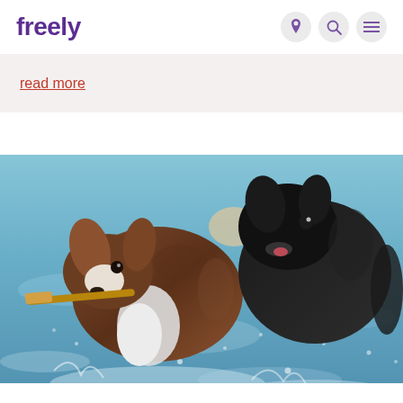freely
read more
[Figure (photo): Two dogs running through water — a brown and white Australian Shepherd carrying a stick in its mouth, and a black dog running alongside, both splashing through water with blurred water spray around them.]